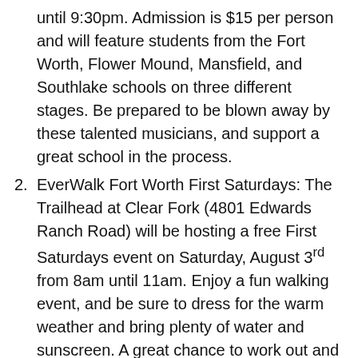until 9:30pm. Admission is $15 per person and will feature students from the Fort Worth, Flower Mound, Mansfield, and Southlake schools on three different stages. Be prepared to be blown away by these talented musicians, and support a great school in the process.
EverWalk Fort Worth First Saturdays: The Trailhead at Clear Fork (4801 Edwards Ranch Road) will be hosting a free First Saturdays event on Saturday, August 3rd from 8am until 11am. Enjoy a fun walking event, and be sure to dress for the warm weather and bring plenty of water and sunscreen. A great chance to work out and be outdoors!
Melon Ball: Enjoy watermelon inspired drinks, slices, and live musical performances at Melon Ball! The event